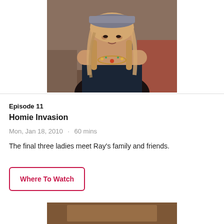[Figure (photo): A woman with long braided blonde hair wearing a dark blue top with a decorative necklace and a gray cap, seated indoors.]
Episode 11
Homie Invasion
Mon, Jan 18, 2010  ·  60 mins
The final three ladies meet Ray's family and friends.
Where To Watch
[Figure (photo): Partial view of another episode thumbnail at the bottom of the page.]